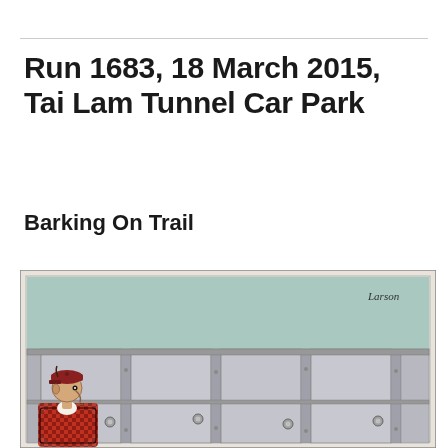Run 1683, 18 March 2015, Tai Lam Tunnel Car Park
Barking On Trail
[Figure (illustration): A Far Side-style cartoon showing a person in a checkered coat and cap peering around locker room bathroom stalls, with circular door knobs visible on each stall. The upper portion shows a pale blue-green wall. Artist signature 'Larson' visible in upper right.]